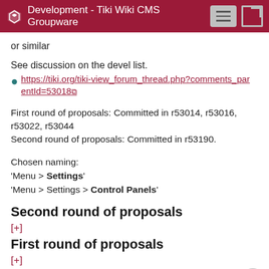Development - Tiki Wiki CMS Groupware
or similar
See discussion on the devel list.
https://tiki.org/tiki-view_forum_thread.php?comments_parentId=53018
First round of proposals: Committed in r53014, r53016, r53022, r53044
Second round of proposals: Committed in r53190.
Chosen naming:
'Menu > Settings'
'Menu > Settings > Control Panels'
Second round of proposals
[+]
First round of proposals
[+]